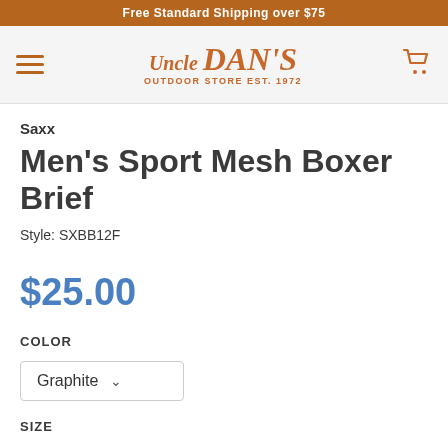Free Standard Shipping over $75
[Figure (logo): Uncle Dan's Outdoor Store Est. 1972 logo with hamburger menu and cart icon]
Saxx
Men's Sport Mesh Boxer Brief
Style: SXBB12F
$25.00
COLOR
Graphite
SIZE